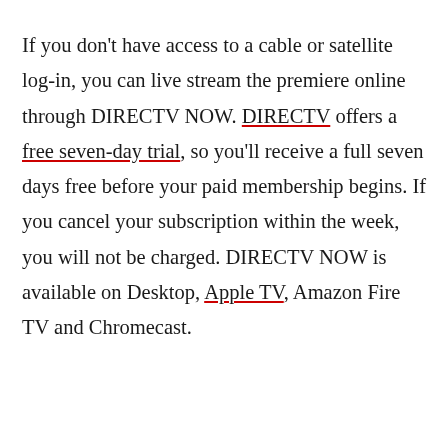If you don't have access to a cable or satellite log-in, you can live stream the premiere online through DIRECTV NOW. DIRECTV offers a free seven-day trial, so you'll receive a full seven days free before your paid membership begins. If you cancel your subscription within the week, you will not be charged. DIRECTV NOW is available on Desktop, Apple TV, Amazon Fire TV and Chromecast.